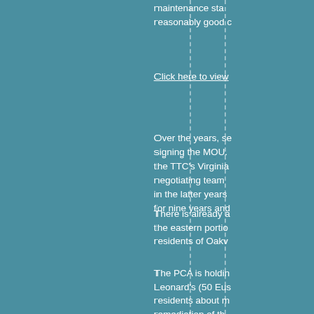maintenance sta... reasonably good c...
Click here to view...
Over the years, se... signing the MOU. ... the TTC's Virginia... negotiating team ... in the latter years... for nine years and...
There is already a... the eastern portio... residents of Oakv...
The PCA is holdin... Leonard's (50 Eus... residents about m... remediation of th... ago. Community i... greenspace. Wor...